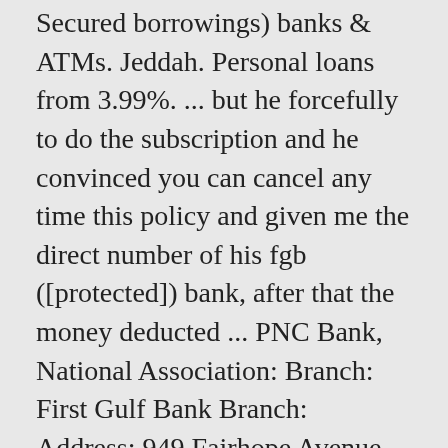Secured borrowings) banks & ATMs. Jeddah. Personal loans from 3.99%. ... but he forcefully to do the subscription and he convinced you can cancel any time this policy and given me the direct number of his fgb ([protected]) bank, after that the money deducted ... PNC Bank, National Association: Branch: First Gulf Bank Branch: Address: 949 Fairhope Avenue, Fairhope, Alabama 36532: Contact Number (251) 928-8838: County: Baldwin: Service Type: Full Service, brick and mortar office: Date of Establishment: 09/11/2000: Branch Deposits: $62,910,000 Address: Zayed 1st Street (Electra Road), Al Khalidiya, Abu DhabiLandmark: Next to Capital Police Department Zip Code: 6316. We will update the website after verifying the